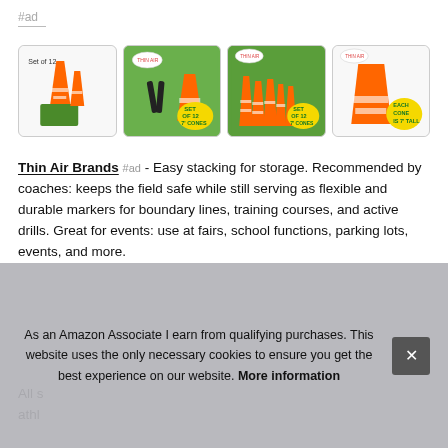#ad
[Figure (photo): Four product images showing orange traffic cones: Set of 12, person placing cones on grass, multiple cones on grass (SET OF 12 7' CONES), single cone (EACH CONE IS 7' TALL)]
Thin Air Brands #ad - Easy stacking for storage. Recommended by coaches: keeps the field safe while still serving as flexible and durable markers for boundary lines, training courses, and active drills. Great for events: use at fairs, school functions, parking lots, events, and more.
All s... athl...
As an Amazon Associate I earn from qualifying purchases. This website uses the only necessary cookies to ensure you get the best experience on our website. More information